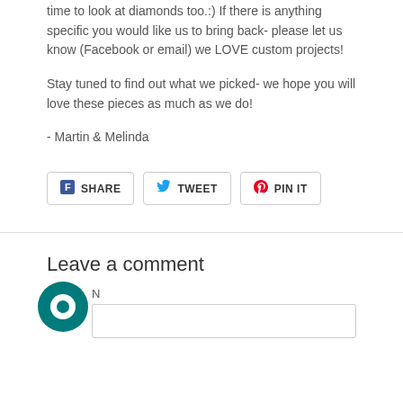time to look at diamonds too.:) If there is anything specific you would like us to bring back- please let us know (Facebook or email) we LOVE custom projects!
Stay tuned to find out what we picked- we hope you will love these pieces as much as we do!
- Martin & Melinda
[Figure (infographic): Social sharing buttons: Facebook SHARE, Twitter TWEET, Pinterest PIN IT]
Leave a comment
[Figure (other): Teal circular chat widget icon]
N
[Figure (other): Text input field (Name)]